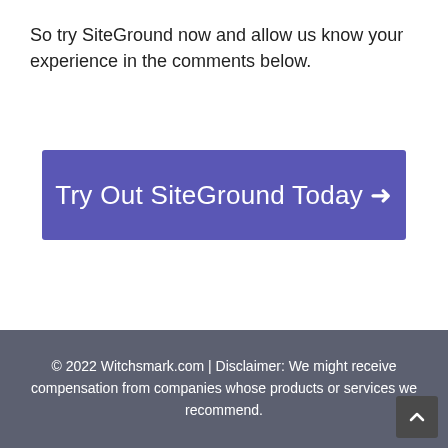So try SiteGround now and allow us know your experience in the comments below.
[Figure (other): Call-to-action button with purple background reading 'Try Out SiteGround Today →']
© 2022 Witchsmark.com | Disclaimer: We might receive compensation from companies whose products or services we recommend.